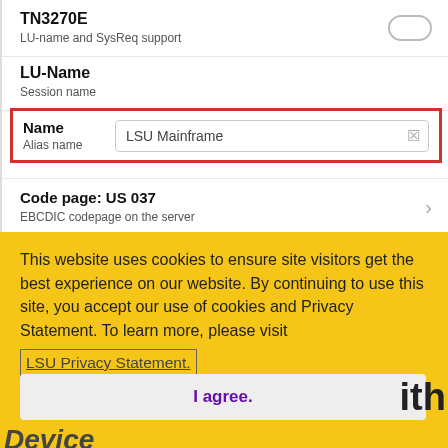[Figure (screenshot): Mobile app settings screen showing TN3270E toggle, LU-Name session name, highlighted Name/Alias name field with 'LSU Mainframe' input, and Code page US 037 row]
This website uses cookies to ensure site visitors get the best experience on our website. By continuing to use this site, you accept our use of cookies and Privacy Statement. To learn more, please visit LSU Privacy Statement.
I agree.
ith
Device